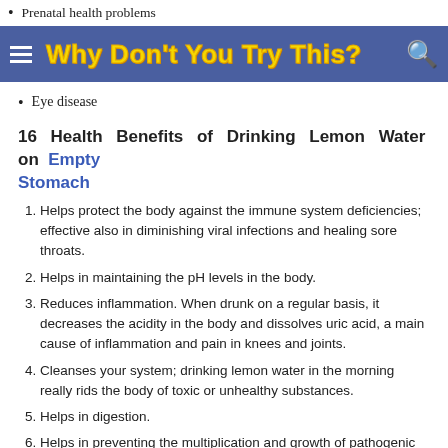Prenatal health problems
Why Don't You Try This?
Eye disease
16 Health Benefits of Drinking Lemon Water on Empty Stomach
Helps protect the body against the immune system deficiencies; effective also in diminishing viral infections and healing sore throats.
Helps in maintaining the pH levels in the body.
Reduces inflammation. When drunk on a regular basis, it decreases the acidity in the body and dissolves uric acid, a main cause of inflammation and pain in knees and joints.
Cleanses your system; drinking lemon water in the morning really rids the body of toxic or unhealthy substances.
Helps in digestion.
Helps in preventing the multiplication and growth of pathogenic bacteria that causes disease and infections.